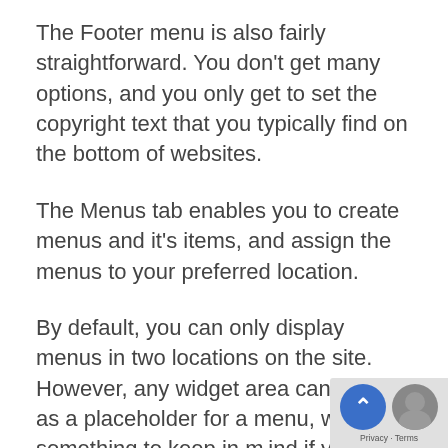The Footer menu is also fairly straightforward. You don't get many options, and you only get to set the copyright text that you typically find on the bottom of websites.
The Menus tab enables you to create menus and it's items, and assign the menus to your preferred location.
By default, you can only display menus in two locations on the site. However, any widget area can double as a placeholder for a menu, which is something to keep in mind if you're looking to get creative.